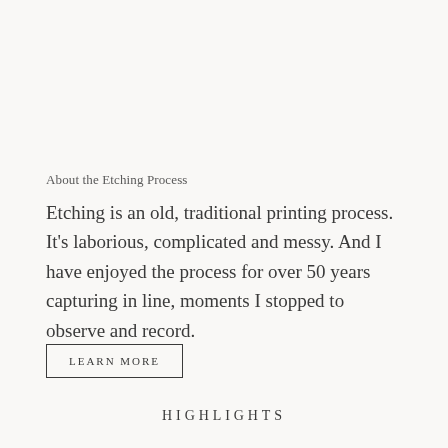About the Etching Process
Etching is an old, traditional printing process.  It's laborious, complicated and messy. And I have enjoyed the process for over 50 years capturing in line, moments I stopped to observe and record.
LEARN MORE
HIGHLIGHTS